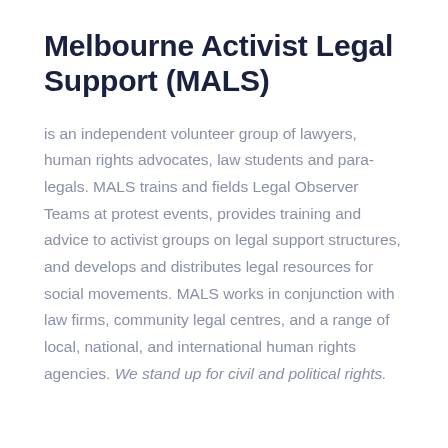Melbourne Activist Legal Support (MALS)
is an independent volunteer group of lawyers, human rights advocates, law students and para-legals. MALS trains and fields Legal Observer Teams at protest events, provides training and advice to activist groups on legal support structures, and develops and distributes legal resources for social movements. MALS works in conjunction with law firms, community legal centres, and a range of local, national, and international human rights agencies. We stand up for civil and political rights.